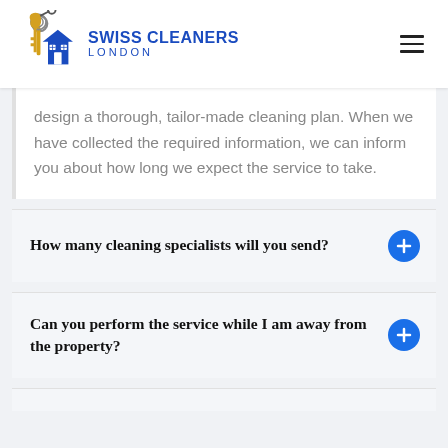SWISS CLEANERS LONDON
design a thorough, tailor-made cleaning plan. When we have collected the required information, we can inform you about how long we expect the service to take.
How many cleaning specialists will you send?
Can you perform the service while I am away from the property?